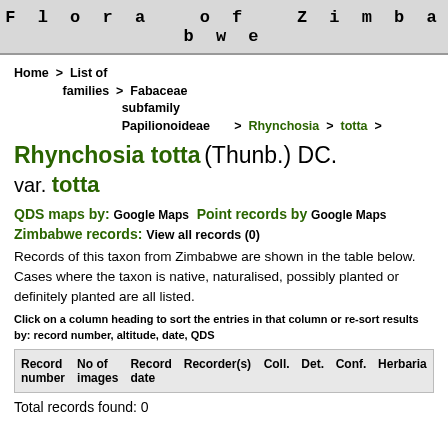Flora of Zimbabwe
Home > List of families > Fabaceae subfamily Papilionoideae > Rhynchosia > totta >
Rhynchosia totta (Thunb.) DC. var. totta
QDS maps by: Google Maps Point records by Google Maps
Zimbabwe records: View all records (0)
Records of this taxon from Zimbabwe are shown in the table below. Cases where the taxon is native, naturalised, possibly planted or definitely planted are all listed.
Click on a column heading to sort the entries in that column or re-sort results by: record number, altitude, date, QDS
| Record number | No of images | Record date | Recorder(s) | Coll. | Det. | Conf. | Herbaria |
| --- | --- | --- | --- | --- | --- | --- | --- |
Total records found: 0